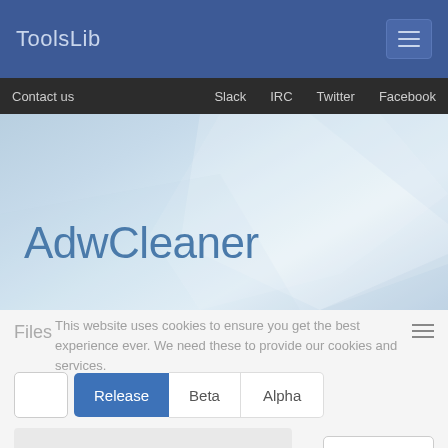ToolsLib
Contact us   Slack   IRC   Twitter   Facebook
AdwCleaner
Files
This website uses cookies to ensure you get the best experience ever. We need these to provide our cookies and services.
Release   Beta   Alpha
Order by
Search...